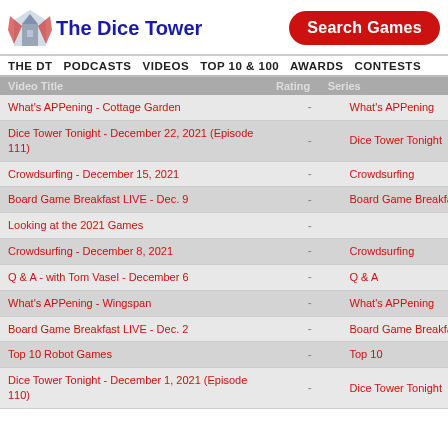[Figure (logo): The Dice Tower logo with stylized tower icon and blue text]
Search Games
THE DT  PODCASTS  VIDEOS  TOP 10 & 100  AWARDS  CONTESTS
| Video Title | Rating | Series |
| --- | --- | --- |
| What's APPening - Cottage Garden | - | What's APPening |
| Dice Tower Tonight - December 22, 2021 (Episode 111) | - | Dice Tower Tonight |
| Crowdsurfing - December 15, 2021 | - | Crowdsurfing |
| Board Game Breakfast LIVE - Dec. 9 | - | Board Game Breakfast |
| Looking at the 2021 Games | - |  |
| Crowdsurfing - December 8, 2021 | - | Crowdsurfing |
| Q & A - with Tom Vasel - December 6 | - | Q & A |
| What's APPening - Wingspan | - | What's APPening |
| Board Game Breakfast LIVE - Dec. 2 | - | Board Game Breakfast |
| Top 10 Robot Games | - | Top 10 |
| Dice Tower Tonight - December 1, 2021 (Episode 110) | - | Dice Tower Tonight |